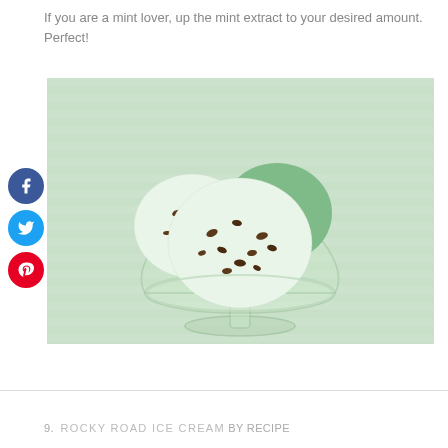If you are a mint lover, up the mint extract to your desired amount. Perfect!
[Figure (photo): A glass dessert bowl filled with scoops of mint chocolate chip ice cream, set against a light green striped background. Social share buttons (Facebook, Twitter, Pinterest) are overlaid on the left side of the image.]
9. ROCKY ROAD ICE CREAM BY RECIPE